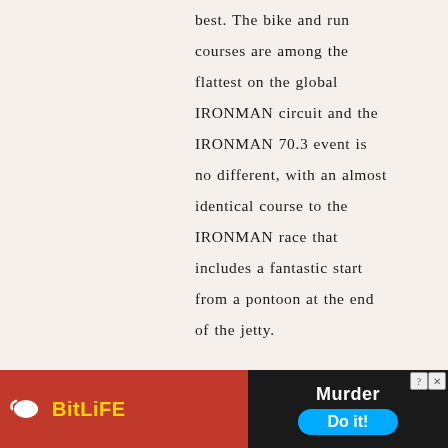best. The bike and run courses are among the flattest on the global IRONMAN circuit and the IRONMAN 70.3 event is no different, with an almost identical course to the IRONMAN race that includes a fantastic start from a pontoon at the end of the jetty.
Reply
[Figure (photo): Gray avatar placeholder image with a circular profile silhouette]
WATCH ENGLAND VS SCOTLAND FREE LIVE
[Figure (infographic): BitLife advertisement banner with red background, yellow BitLife logo with sperm icon, and black panel showing knife illustration with 'Murder Do it!' text and blue button]